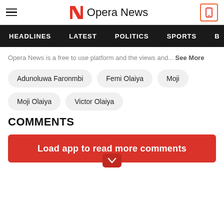Opera News
HEADLINES   LATEST   POLITICS   SPORTS   B
Opera News is a free to use platform and the views and... See More
Adunoluwa Faronmbi
Femi Olaiya
Moji
Moji Olaiya
Victor Olaiya
COMMENTS
Load app to read more comments